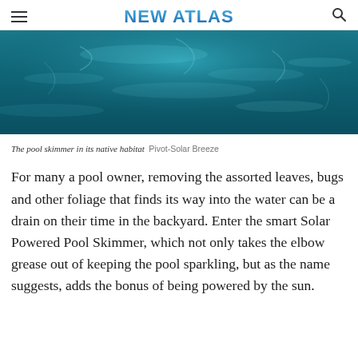NEW ATLAS
[Figure (photo): Aerial or underwater view of a swimming pool with blue-teal water, sunlight reflecting on the surface.]
The pool skimmer in its native habitat  Pivot-Solar Breeze
For many a pool owner, removing the assorted leaves, bugs and other foliage that finds its way into the water can be a drain on their time in the backyard. Enter the smart Solar Powered Pool Skimmer, which not only takes the elbow grease out of keeping the pool sparkling, but as the name suggests, adds the bonus of being powered by the sun.